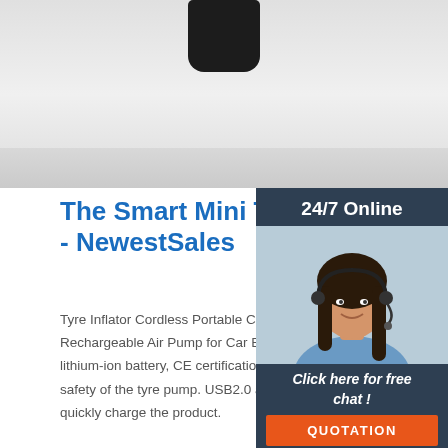[Figure (photo): Product image area showing partial view of a dark device against a light grey gradient background]
The Smart Mini Tire Inflator [FREE S - NewestSales
[Figure (photo): Chat widget with 24/7 Online header, photo of smiling woman with headset, Click here for free chat! text and QUOTATION orange button]
Tyre Inflator Cordless Portable Compressor Digital Car Tyre Pu Rechargeable Air Pump for Car Bicycle Tires Balls. Safer Batte lithium-ion battery, CE certification, ROHS, FCC certification, to safety of the tyre pump. USB2.0 and USB3.0 charging cables co quickly charge the product.
[Figure (other): Orange and red TOP button icon with dotted arc above the letters TOP]